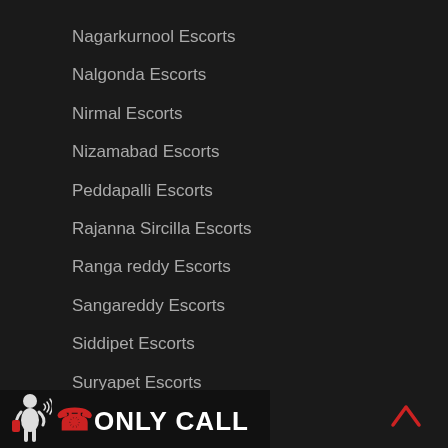Nagarkurnool Escorts
Nalgonda Escorts
Nirmal Escorts
Nizamabad Escorts
Peddapalli Escorts
Rajanna Sircilla Escorts
Ranga reddy Escorts
Sangareddy Escorts
Siddipet Escorts
Suryapet Escorts
Vikarabad Escorts
Wanaparthy Escorts
Warangal Rural Escorts
[Figure (other): Footer bar with a 3D figure holding a phone, a phone icon with signal waves, and the text ONLY CALL in white bold capitals on dark background, plus a scroll-up arrow on the right]